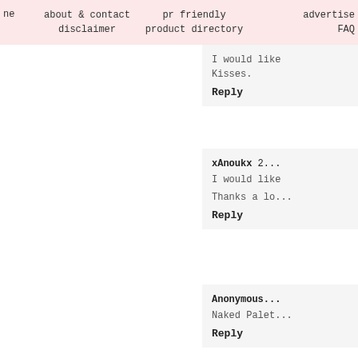ne   about & contact  disclaimer   pr friendly  product directory   advertise  FAQ
I would like
Kisses.
Reply
xAnoukx  2...
I would like
Thanks a lo...
Reply
Anonymous...
Naked Palet...
Reply